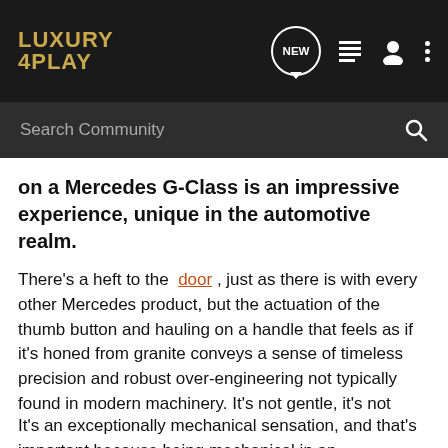LUXURY 4PLAY [navigation bar with NEW, list, user, and more icons]
Search Community
on a Mercedes G-Class is an impressive experience, unique in the automotive realm.
There's a heft to the door , just as there is with every other Mercedes product, but the actuation of the thumb button and hauling on a handle that feels as if it's honed from granite conveys a sense of timeless precision and robust over-engineering not typically found in modern machinery. It's not gentle, it's not dainty. There's no electronic assistance, and closing the door requires a proper slam.
It's an exceptionally mechanical sensation, and that's important because being mechanical in an increasingly